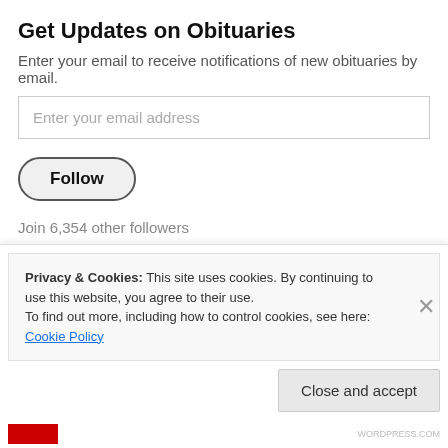Get Updates on Obituaries
Enter your email to receive notifications of new obituaries by email.
Enter your email address
Follow
Join 6,354 other followers
Search
Privacy & Cookies: This site uses cookies. By continuing to use this website, you agree to their use.
To find out more, including how to control cookies, see here: Cookie Policy
Close and accept